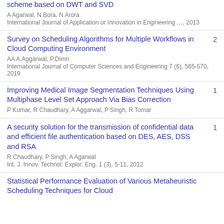scheme based on DWT and SVD
A Agarwal, N Bora, N Arora
International Journal of Application or Innovation in Engineering …, 2013
Survey on Scheduling Algorithms for Multiple Workflows in Cloud Computing Environment
AA A.Aggarwal, P.Dimri
International Journal of Computer Sciences and Engineering 7 (6), 565-570, 2019
Citations: 2
Improving Medical Image Segmentation Techniques Using Multiphase Level Set Approach Via Bias Correction
P Kumar, R Chaudhary, A Aggarwal, P Singh, R Tomar
Citations: 1
A security solution for the transmission of confidential data and efficient file authentication based on DES, AES, DSS and RSA
R Chaudhary, P Singh, A Agarwal
Int. J. Innov. Technol. Explor. Eng. 1 (3), 5-11, 2012
Citations: 1
Statistical Performance Evaluation of Various Metaheuristic Scheduling Techniques for Cloud